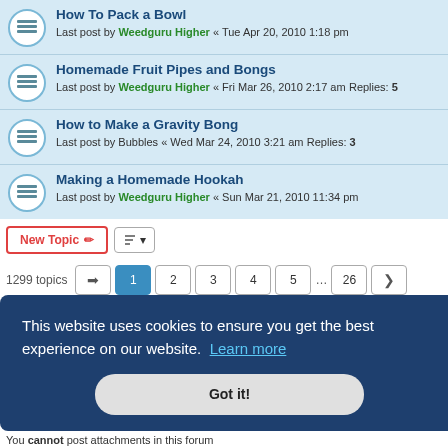How To Pack a Bowl — Last post by Weedguru Higher « Tue Apr 20, 2010 1:18 pm
Homemade Fruit Pipes and Bongs — Last post by Weedguru Higher « Fri Mar 26, 2010 2:17 am — Replies: 5
How to Make a Gravity Bong — Last post by Bubbles « Wed Mar 24, 2010 3:21 am — Replies: 3
Making a Homemade Hookah — Last post by Weedguru Higher « Sun Mar 21, 2010 11:34 pm
New Topic | sort | 1299 topics | page 1 2 3 4 5 ... 26 >
Jump to
This website uses cookies to ensure you get the best experience on our website. Learn more Got it!
You cannot post attachments in this forum